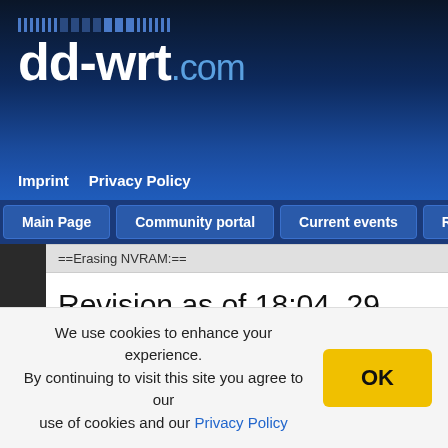[Figure (logo): dd-wrt.com logo with ticker bar above on dark blue gradient background]
Imprint  Privacy Policy
Main Page  Community portal  Current events  Recent changes
==Erasing NVRAM:==
Revision as of 18:04, 29 December 2017
English • Deutsch • Español • Français • Italiano • 日本語 • Polski • Português
We use cookies to enhance your experience. By continuing to visit this site you agree to our use of cookies and our Privacy Policy